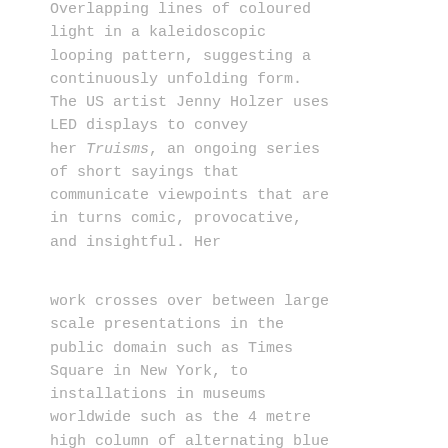Overlapping lines of coloured light in a kaleidoscopic looping pattern, suggesting a continuously unfolding form. The US artist Jenny Holzer uses LED displays to convey her Truisms, an ongoing series of short sayings that communicate viewpoints that are in turns comic, provocative, and insightful. Her
work crosses over between large scale presentations in the public domain such as Times Square in New York, to installations in museums worldwide such as the 4 metre high column of alternating blue and white LED displays in the Glucksman